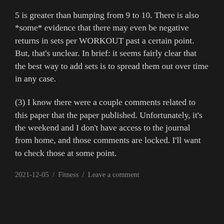5 is greater than bumping from 9 to 10. There is also *some* evidence that there may even be negative returns in sets per WORKOUT past a certain point. But, that's unclear. In brief: it seems fairly clear that the best way to add sets is to spread them out over time in any case.
(3) I know there were a couple comments related to this paper that the paper published. Unfortunately, it's the weekend and I don't have access to the journal from home, and those comments are locked. I'll want to check those at some point.
2021-12-05 / Fitness / Leave a comment